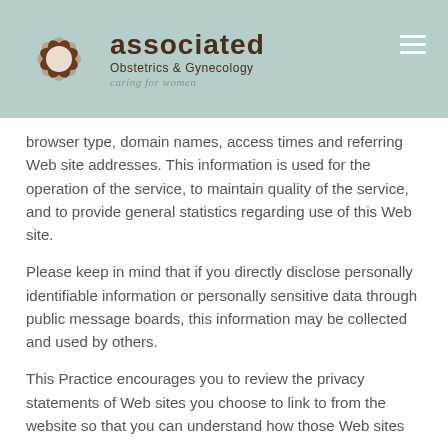[Figure (logo): Associated Obstetrics & Gynecology logo with flower graphic and tagline 'caring for women']
browser type, domain names, access times and referring Web site addresses. This information is used for the operation of the service, to maintain quality of the service, and to provide general statistics regarding use of this Web site.
Please keep in mind that if you directly disclose personally identifiable information or personally sensitive data through public message boards, this information may be collected and used by others.
This Practice encourages you to review the privacy statements of Web sites you choose to link to from the website so that you can understand how those Web sites